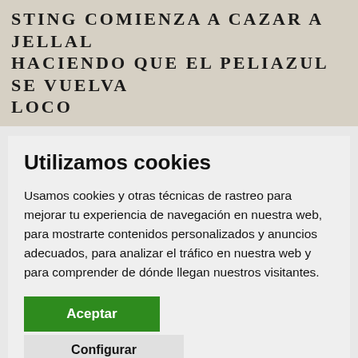STING COMIENZA A CAZAR A JELLAL HACIENDO QUE EL PELIAZUL SE VUELVA LOCO
Utilizamos cookies
Usamos cookies y otras técnicas de rastreo para mejorar tu experiencia de navegación en nuestra web, para mostrarte contenidos personalizados y anuncios adecuados, para analizar el tráfico en nuestra web y para comprender de dónde llegan nuestros visitantes.
Aceptar
Configurar